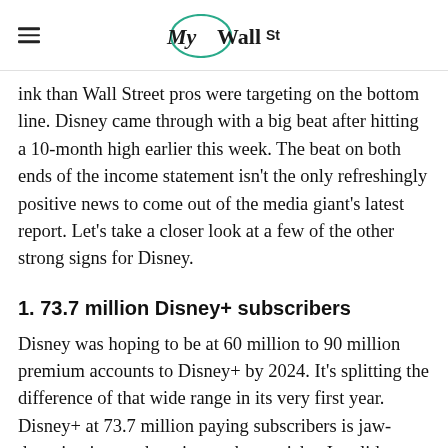MyWallSt
ink than Wall Street pros were targeting on the bottom line. Disney came through with a big beat after hitting a 10-month high earlier this week. The beat on both ends of the income statement isn't the only refreshingly positive news to come out of the media giant's latest report. Let's take a closer look at a few of the other strong signs for Disney.
1. 73.7 million Disney+ subscribers
Disney was hoping to be at 60 million to 90 million premium accounts to Disney+ by 2024. It's splitting the difference of that wide range in its very first year. Disney+ at 73.7 million paying subscribers is jaw-dropping in an otherwise cutthroat niche. It validates